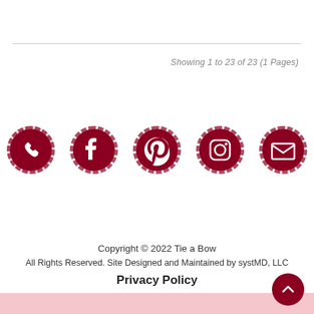Showing 1 to 23 of 23 (1 Pages)
[Figure (illustration): Five dark red circular brushstroke social media icons: phone/WhatsApp, Facebook, Pinterest, Instagram, Email]
Copyright © 2022 Tie a Bow
All Rights Reserved. Site Designed and Maintained by systMD, LLC
Privacy Policy